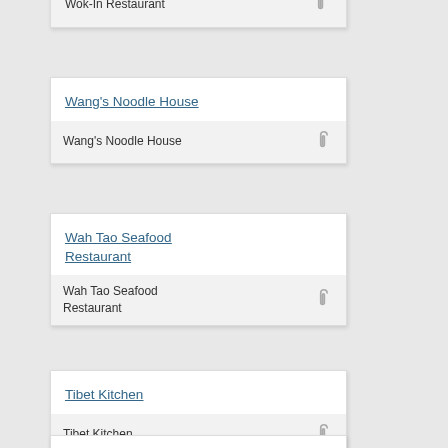Wok-In Restaurant
Wang's Noodle House / Wang's Noodle House
Wah Tao Seafood Restaurant / Wah Tao Seafood Restaurant
Tibet Kitchen / Tibet Kitchen